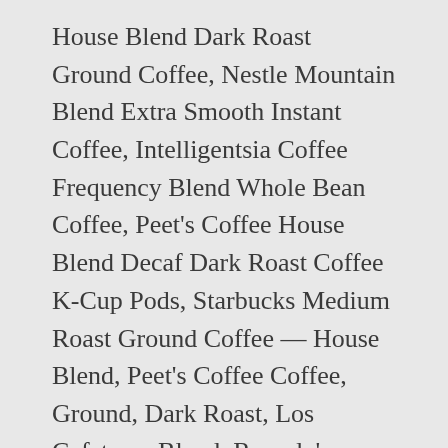House Blend Dark Roast Ground Coffee, Nestle Mountain Blend Extra Smooth Instant Coffee, Intelligentsia Coffee Frequency Blend Whole Bean Coffee, Peet's Coffee House Blend Decaf Dark Roast Coffee K-Cup Pods, Starbucks Medium Roast Ground Coffee — House Blend, Peet's Coffee Coffee, Ground, Dark Roast, Los Cafeteros Blend, Roundy's Jamaican Blue Mountain Blend Coffee, Dunkin' Donuts Coffee, Medium Roast, Original Blend, K-Cup Pods, International Delight French Vanilla Coffee Creamer, Nestlé Coffee Mate Sugar Free Italian Sweet Crème Liquid Coffee Creamer, Eggland's Best Cage Free Grade A Large Brown Eggs, Keurig Coffee, Extra Bold, Medium Roast, Regular, K-Cup Pods, Personal shoppers pick